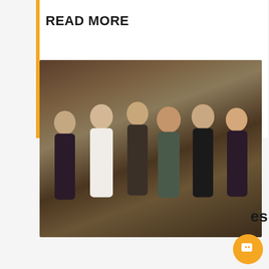READ MORE
[Figure (photo): Group photo of six people (five women and one man in a suit) posing together against a mottled studio background.]
[Figure (screenshot): Chatbot popup widget with blue header bar reading 'May I help you?' with an X close button, and a white body showing an orange chat icon and the message: 'Hi there! I'm a chatbot here to answer your questions. What would you like to know?']
Hi there! I'm a chatbot here to answer your questions. What would you like to know?